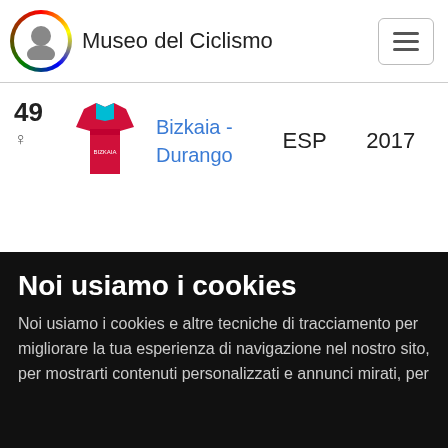Museo del Ciclismo
| # | Jersey | Team | Country | Year |
| --- | --- | --- | --- | --- |
| 49 ♀ |  | Bizkaia - Durango | ESP | 2017 |
Noi usiamo i cookies
Noi usiamo i cookies e altre tecniche di tracciamento per migliorare la tua esperienza di navigazione nel nostro sito, per mostrarti contenuti personalizzati e annunci mirati, per